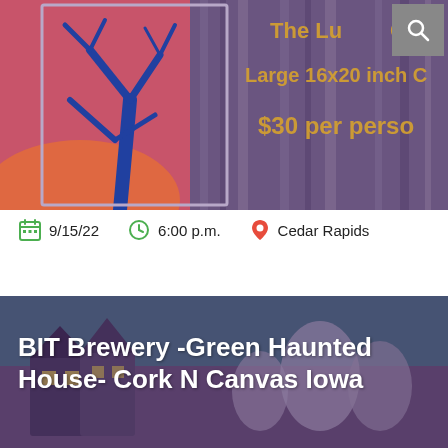[Figure (photo): Event promotional image showing a painting of a blue tree against a pink/red sky with purple curtain-like background. Text overlay reads 'The Luc... Ca... Large 16x20 inch C... $30 per perso...' with a search icon in top right.]
9/15/22   6:00 p.m.   Cedar Rapids
[Figure (photo): Promotional image for BIT Brewery -Green Haunted House- Cork N Canvas Iowa. Shows cartoon haunted house style illustration in purple/teal tones.]
BIT Brewery -Green Haunted House- Cork N Canvas Iowa